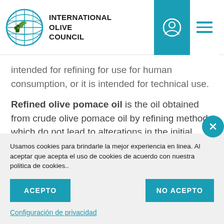[Figure (logo): International Olive Council logo — globe with olive branch and text 'INTERNATIONAL OLIVE COUNCIL']
intended for refining for use for human consumption, or it is intended for technical use.
Refined olive pomace oil is the oil obtained from crude olive pomace oil by refining methods which do not lead to alterations in the initial glyceridic structure. It has a free
Usamos cookies para brindarle la mejor experiencia en linea. Al aceptar que acepta el uso de cookies de acuerdo con nuestra politica de cookies..
ACEPTO
NO ACEPTO
Configuración de privacidad